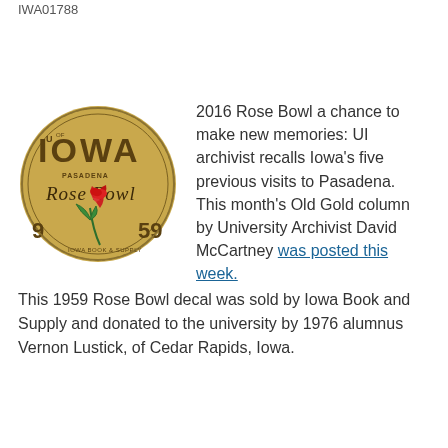IWA01788
[Figure (illustration): 1959 Rose Bowl decal featuring a football with 'U of IOWA' text, 'PASADENA Rose Bowl' text, a red rose illustration, number 9 and 59, and 'IOWA BOOK & SUPPLY' text at the bottom. Gold/tan background.]
2016 Rose Bowl a chance to make new memories: UI archivist recalls Iowa's five previous visits to Pasadena.  This month's Old Gold column by University Archivist David McCartney was posted this week.
This 1959 Rose Bowl decal was sold by Iowa Book and Supply and donated to the university by 1976 alumnus Vernon Lustick, of Cedar Rapids, Iowa.